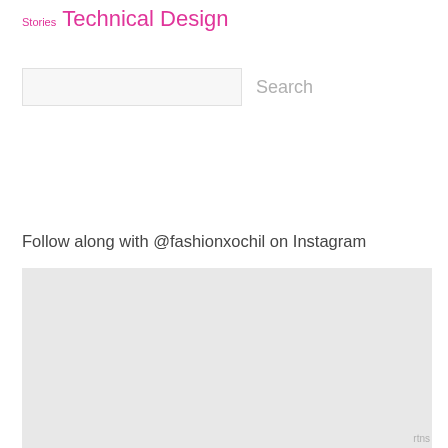Stories Technical Design
Search
Follow along with @fashionxochil on Instagram
[Figure (photo): Light gray placeholder image area for Instagram feed]